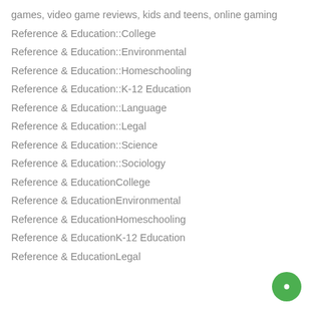games, video game reviews, kids and teens, online gaming
Reference & Education::College
Reference & Education::Environmental
Reference & Education::Homeschooling
Reference & Education::K-12 Education
Reference & Education::Language
Reference & Education::Legal
Reference & Education::Science
Reference & Education::Sociology
Reference & EducationCollege
Reference & EducationEnvironmental
Reference & EducationHomeschooling
Reference & EducationK-12 Education
Reference & EducationLegal